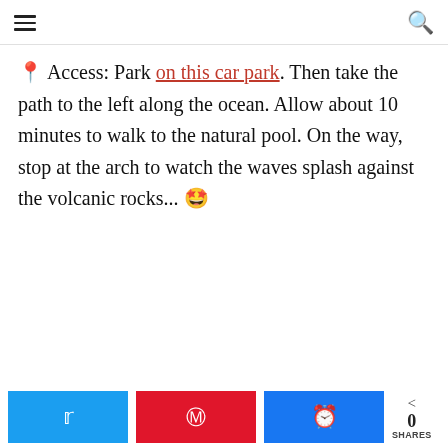☰  🔍
📍 Access: Park on this car park. Then take the path to the left along the ocean. Allow about 10 minutes to walk to the natural pool. On the way, stop at the arch to watch the waves splash against the volcanic rocks... 🤩
Twitter share | Pinterest share | Facebook share | < 0 SHARES